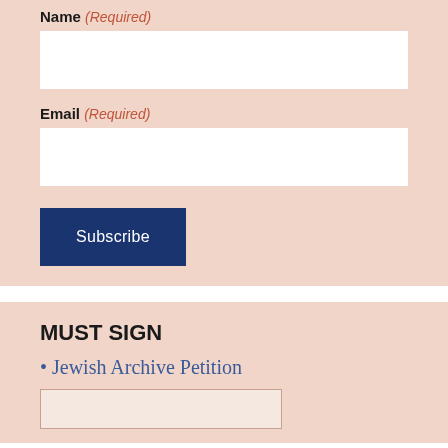Name (Required)
[Figure (other): Empty text input field for Name]
Email (Required)
[Figure (other): Empty text input field for Email]
[Figure (other): Subscribe button (dark navy blue)]
MUST SIGN
• Jewish Archive Petition
[Figure (other): Empty input/display box below Jewish Archive Petition link]